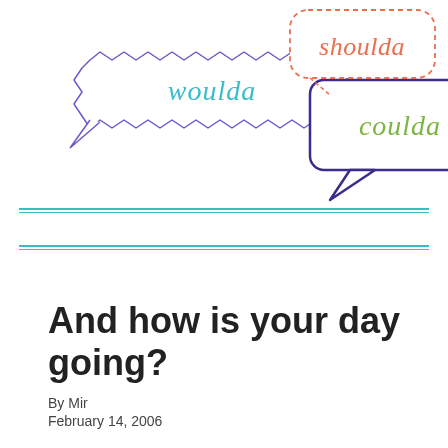[Figure (illustration): Decorative header illustration with three speech bubbles: 'woulda' in cyan/teal cursive, 'coulda' in green cursive in a dark purple outlined bubble, and 'shoulda' in orange/salmon cursive in a dashed-outline bubble on the right. The woulda bubble has a jagged/zig-zag outline. Background is white.]
And how is your day going?
By Mir
February 14, 2006